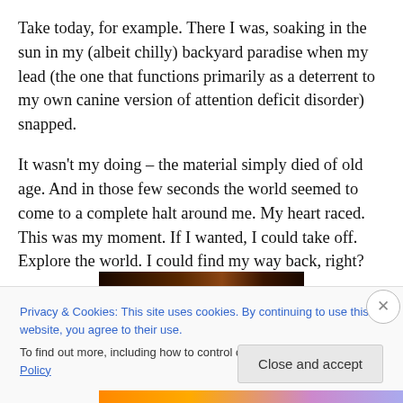Take today, for example. There I was, soaking in the sun in my (albeit chilly) backyard paradise when my lead (the one that functions primarily as a deterrent to my own canine version of attention deficit disorder) snapped.
It wasn't my doing – the material simply died of old age. And in those few seconds the world seemed to come to a complete halt around me. My heart raced. This was my moment. If I wanted, I could take off. Explore the world. I could find my way back, right?
[Figure (photo): Partial view of a dark-toned photograph, partially obscured by cookie consent banner]
Privacy & Cookies: This site uses cookies. By continuing to use this website, you agree to their use.
To find out more, including how to control cookies, see here: Cookie Policy